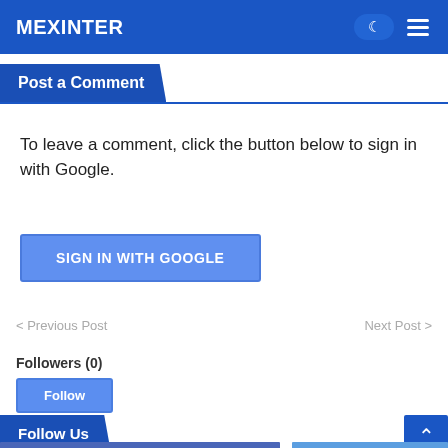MEXINTER
Post a Comment
To leave a comment, click the button below to sign in with Google.
SIGN IN WITH GOOGLE
< Previous Post
Next Post >
Followers (0)
Follow
Follow Us